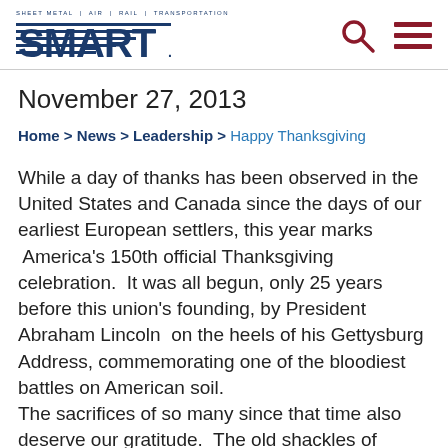SMART — Sheet Metal Air Rail Transportation — logo with search and menu icons
November 27, 2013
Home > News > Leadership > Happy Thanksgiving
While a day of thanks has been observed in the United States and Canada since the days of our earliest European settlers, this year marks  America's 150th official Thanksgiving celebration.  It was all begun, only 25 years before this union's founding, by President Abraham Lincoln  on the heels of his Gettysburg Address, commemorating one of the bloodiest battles on American soil.
The sacrifices of so many since that time also deserve our gratitude.  The old shackles of slavery